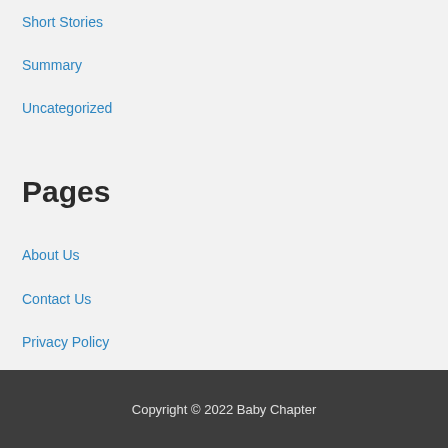Short Stories
Summary
Uncategorized
Pages
About Us
Contact Us
Privacy Policy
Terms and Conditions
Copyright © 2022 Baby Chapter